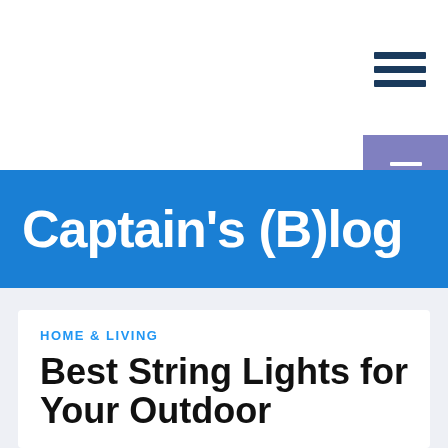[Figure (other): Hamburger menu icon with three horizontal dark navy lines]
[Figure (other): Purple/lavender square button with three white horizontal lines (hamburger menu icon)]
Captain's (B)log
HOME & LIVING
Best String Lights for Your Outdoor